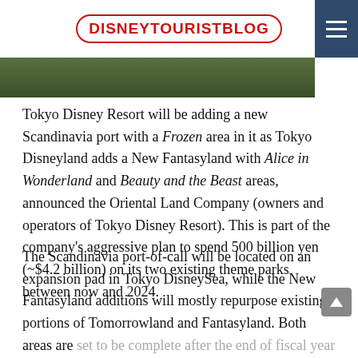DISNEYTOURISTBLOG
[Figure (photo): Partial view of a themed area, green foliage visible]
Tokyo Disney Resort will be adding a new Scandinavia port with a Frozen area in it as Tokyo Disneyland adds a New Fantasyland with Alice in Wonderland and Beauty and the Beast areas, announced the Oriental Land Company (owners and operators of Tokyo Disney Resort). This is part of the company's aggressive plan to spend 500 billion yen (~$4.2 billion) on its two existing theme parks between now and 2024.
The Scandinavia port-of-call will be located on an expansion pad in Tokyo DisneySea, while the New Fantasyland additions will mostly repurpose existing portions of Tomorrowland and Fantasyland. Both areas are set to be complete after the end of fiscal year 2017. This is a fairly aggressive construction schedule considering the